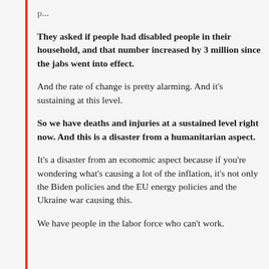They asked if people had disabled people in their household, and that number increased by 3 million since the jabs went into effect.
And the rate of change is pretty alarming. And it's sustaining at this level.
So we have deaths and injuries at a sustained level right now. And this is a disaster from a humanitarian aspect.
It's a disaster from an economic aspect because if you're wondering what's causing a lot of the inflation, it's not only the Biden policies and the EU energy policies and the Ukraine war causing this.
We have people in the labor force who can't work.